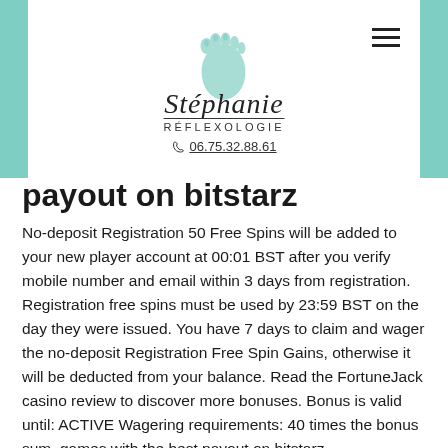[Figure (logo): Stéphanie Réflexologie logo with foot icon and phone number 06.75.32.88.61]
payout on bitstarz
No-deposit Registration 50 Free Spins will be added to your new player account at 00:01 BST after you verify mobile number and email within 3 days from registration. Registration free spins must be used by 23:59 BST on the day they were issued. You have 7 days to claim and wager the no-deposit Registration Free Spin Gains, otherwise it will be deducted from your balance. Read the FortuneJack casino review to discover more bonuses. Bonus is valid until: ACTIVE Wagering requirements: 40 times the bonus sum, games with the best payout on bitstarz.